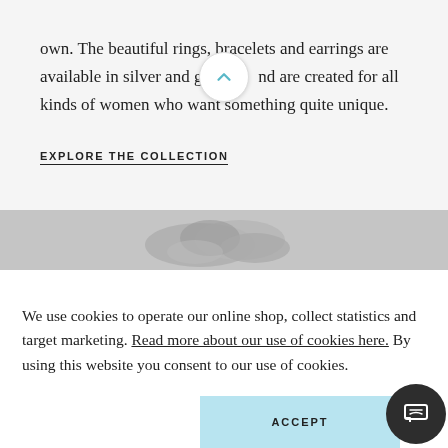own. The beautiful rings, bracelets and earrings are available in silver and gold and are created for all kinds of women who want something quite unique.
EXPLORE THE COLLECTION
[Figure (photo): Grayscale image strip showing what appears to be jewelry or hands, partially visible]
We use cookies to operate our online shop, collect statistics and target marketing. Read more about our use of cookies here. By using this website you consent to our use of cookies.
ACCEPT